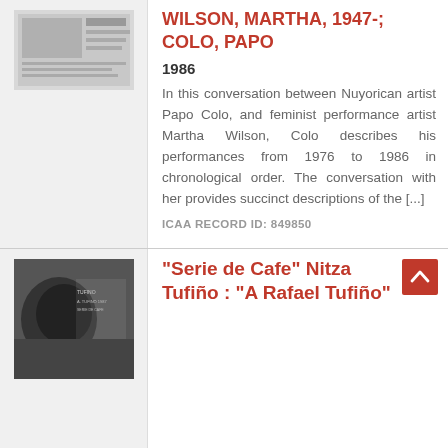[Figure (photo): Thumbnail image of a document or book cover related to Wilson/Colo record]
WILSON, MARTHA, 1947-; COLO, PAPO
1986
In this conversation between Nuyorican artist Papo Colo, and feminist performance artist Martha Wilson, Colo describes his performances from 1976 to 1986 in chronological order. The conversation with her provides succinct descriptions of the [...]
ICAA RECORD ID: 849850
[Figure (photo): Thumbnail image for Serie de Cafe / Nitza Tufiño record, showing a black and white photograph]
"Serie de Cafe" Nitza Tufiño : "A Rafael Tufiño"